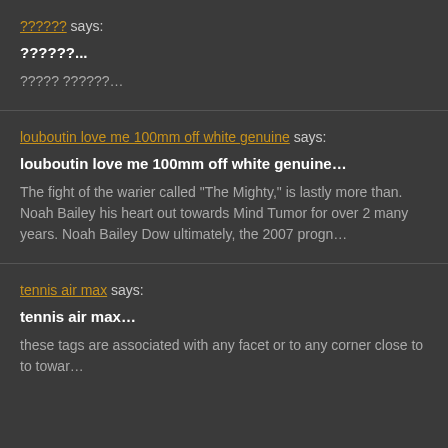?????? says:
??????...
????? ??????...
louboutin love me 100mm off white genuine says:
louboutin love me 100mm off white genuine...
The fight of the warier called “The Mighty,” is lastly more than. Noah Bailey his heart out towards Mind Tumor for over 2 many years. Noah Bailey Dow ultimately, the 2007 progn...
tennis air max says:
tennis air max...
these tags are associated with any facet or to any corner close to to towar...